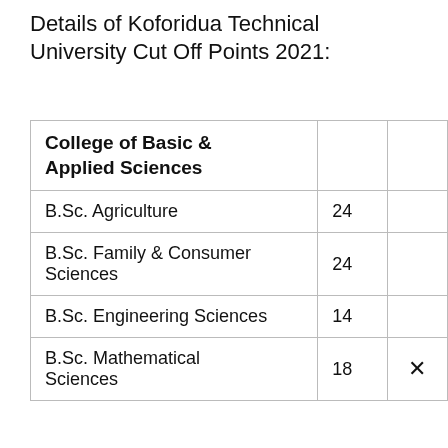Details of Koforidua Technical University Cut Off Points 2021:
| College of Basic & Applied Sciences |  |  |
| --- | --- | --- |
| B.Sc. Agriculture | 24 |  |
| B.Sc. Family & Consumer Sciences | 24 |  |
| B.Sc. Engineering Sciences | 14 |  |
| B.Sc. Mathematical Sciences | 18 | ✕ |